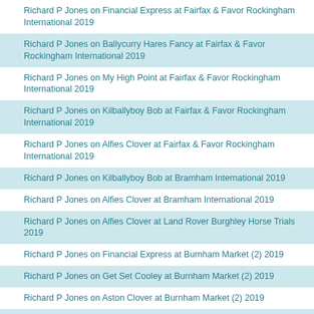Richard P Jones on Financial Express at Fairfax & Favor Rockingham International 2019
Richard P Jones on Ballycurry Hares Fancy at Fairfax & Favor Rockingham International 2019
Richard P Jones on My High Point at Fairfax & Favor Rockingham International 2019
Richard P Jones on Kilballyboy Bob at Fairfax & Favor Rockingham International 2019
Richard P Jones on Alfies Clover at Fairfax & Favor Rockingham International 2019
Richard P Jones on Kilballyboy Bob at Bramham International 2019
Richard P Jones on Alfies Clover at Bramham International 2019
Richard P Jones on Alfies Clover at Land Rover Burghley Horse Trials 2019
Richard P Jones on Financial Express at Burnham Market (2) 2019
Richard P Jones on Get Set Cooley at Burnham Market (2) 2019
Richard P Jones on Aston Clover at Burnham Market (2) 2019
Richard P Jones on Grafics at Osberton International & Young Horse Championships 2019